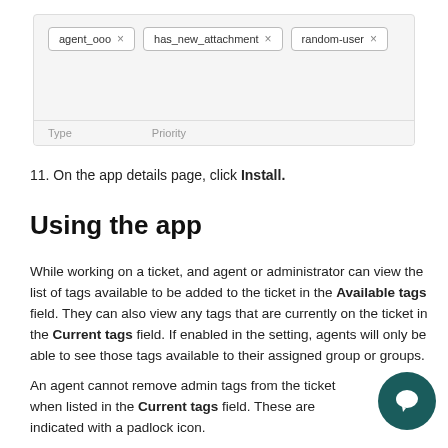[Figure (screenshot): UI screenshot showing tag chips: 'agent_ooo ×', 'has_new_attachment ×', 'random-user ×', with Type and Priority labels at bottom]
11. On the app details page, click Install.
Using the app
While working on a ticket, and agent or administrator can view the list of tags available to be added to the ticket in the Available tags field. They can also view any tags that are currently on the ticket in the Current tags field. If enabled in the setting, agents will only be able to see those tags available to their assigned group or groups.
An agent cannot remove admin tags from the ticket when listed in the Current tags field. These are indicated with a padlock icon.